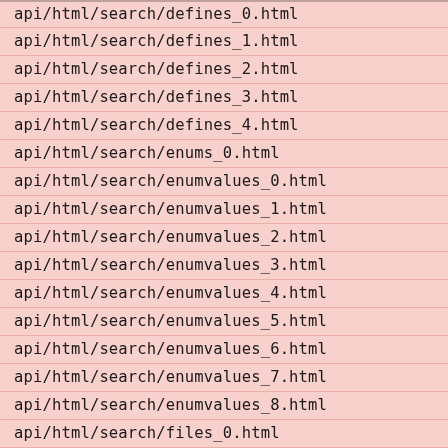| api/html/search/defines_0.html |
| api/html/search/defines_1.html |
| api/html/search/defines_2.html |
| api/html/search/defines_3.html |
| api/html/search/defines_4.html |
| api/html/search/enums_0.html |
| api/html/search/enumvalues_0.html |
| api/html/search/enumvalues_1.html |
| api/html/search/enumvalues_2.html |
| api/html/search/enumvalues_3.html |
| api/html/search/enumvalues_4.html |
| api/html/search/enumvalues_5.html |
| api/html/search/enumvalues_6.html |
| api/html/search/enumvalues_7.html |
| api/html/search/enumvalues_8.html |
| api/html/search/files_0.html |
| api/html/search/functions_0.html |
| api/html/search/typedefs_0.html |